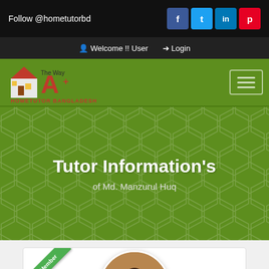Follow @hometutorbd
Welcome !! User   Login
[Figure (logo): Hometutor Bangladesh logo with house icon and 'The Way A+' text]
Tutor Information's
of Md. Manzurul Huq
[Figure (photo): Profile photo of Md. Manzurul Huq in a circular frame with a green 'BASIC Member' ribbon badge on card]